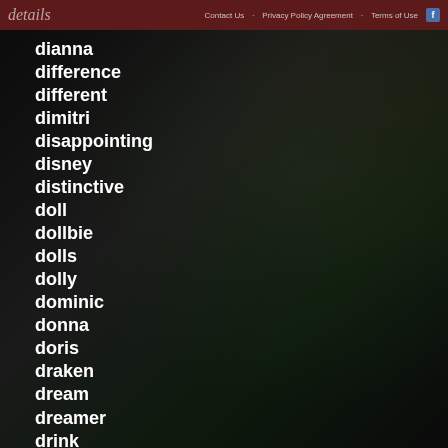details | Contact Us · Privacy Policy Agreement · Terms of Use
dianna
difference
different
dimitri
disappointing
disney
distinctive
doll
dollbie
dolls
dolly
dominic
donna
doris
draken
dream
dreamer
drink
dyck-art
eden
elizabeth
ella